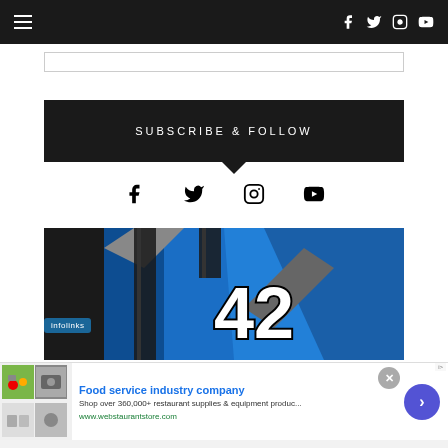Navigation bar with hamburger menu and social icons (Facebook, Twitter, Instagram, YouTube)
[Figure (screenshot): Search box / input field below navigation]
SUBSCRIBE & FOLLOW
[Figure (infographic): Social media icons: Facebook, Twitter, Instagram, YouTube]
[Figure (photo): Racing jersey with number 42, blue and black design with straps]
[Figure (screenshot): Advertisement: Food service industry company - Shop over 360,000+ restaurant supplies & equipment produc... www.webstaurantstore.com]